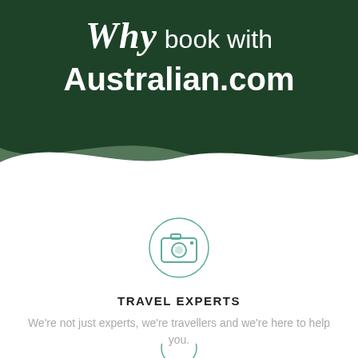Why book with Australian.com
[Figure (illustration): Wavy decorative divider between dark green header and white content area]
[Figure (illustration): Camera icon inside a thin teal circle]
TRAVEL EXPERTS
We're not just experts, we're travellers and we're here to help you.
[Figure (illustration): Partial icon at the bottom of the page (cut off)]